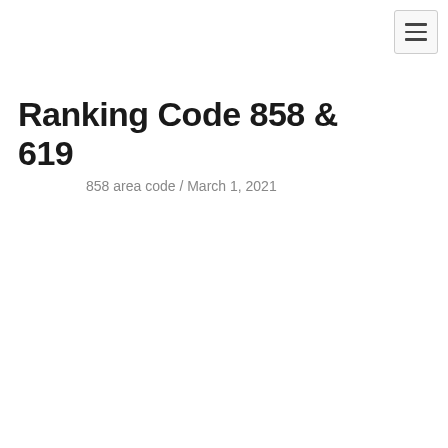≡
Ranking Code 858 & 619
858 area code / March 1, 2021